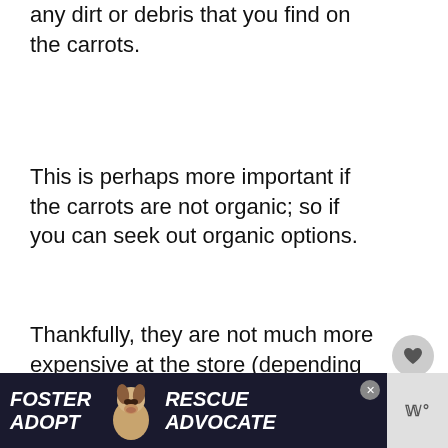any dirt or debris that you find on the carrots.
This is perhaps more important if the carrots are not organic; so if you can seek out organic options.
Thankfully, they are not much more expensive at the store (depending on where you go).
When it comes to actually offering
[Figure (infographic): Dog adoption advertisement banner at bottom of page reading FOSTER RESCUE ADOPT ADVOCATE with image of a beagle dog]
[Figure (other): Heart/favorite icon button (circular grey button with heart symbol)]
[Figure (other): Share icon button (circular light button with share symbol)]